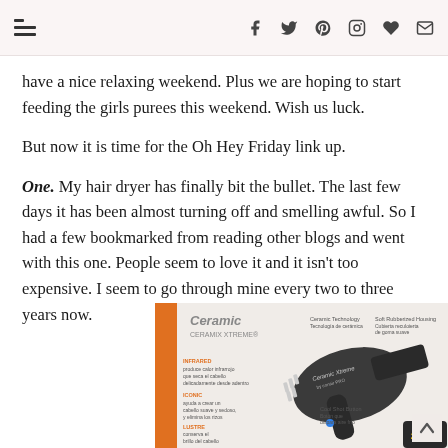navigation bar with menu icon and social media icons: facebook, twitter, pinterest, instagram, heart, email
have a nice relaxing weekend. Plus we are hoping to start feeding the girls purees this weekend. Wish us luck.
But now it is time for the Oh Hey Friday link up.
One. My hair dryer has finally bit the bullet. The last few days it has been almost turning off and smelling awful. So I had a few bookmarked from reading other blogs and went with this one. People seem to love it and it isn't too expensive. I seem to go through mine every two to three years now.
[Figure (photo): Product photo of Conair Ceramic Xtreme hair dryer box, showing the hair dryer with Spanish and English text descriptions of features including Ceramic Technology and Cool Shot Button, and 'iTecnologia De Ceramica!' text at the bottom. Limitada 2 anos badge visible.]